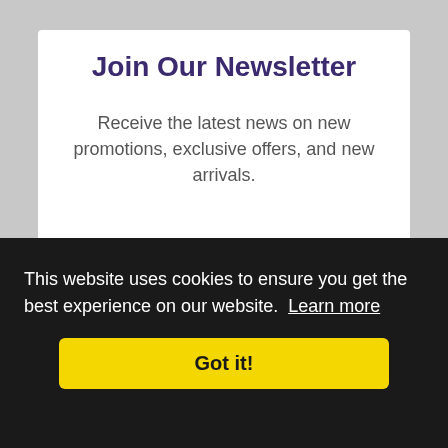Join Our Newsletter
Receive the latest news on new promotions, exclusive offers, and new arrivals.
[Figure (screenshot): Email input field with envelope icon and placeholder text 'Enter your email address...']
[Figure (screenshot): Purple 'Join' button]
This website uses cookies to ensure you get the best experience on our website. Learn more
Got it!